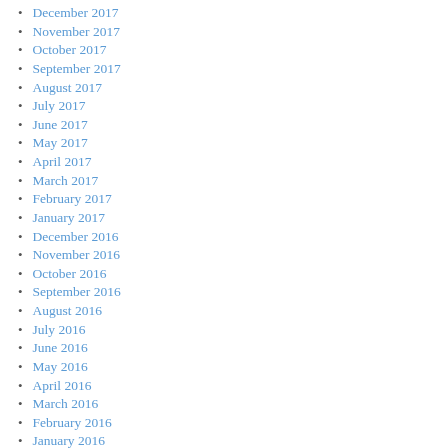December 2017
November 2017
October 2017
September 2017
August 2017
July 2017
June 2017
May 2017
April 2017
March 2017
February 2017
January 2017
December 2016
November 2016
October 2016
September 2016
August 2016
July 2016
June 2016
May 2016
April 2016
March 2016
February 2016
January 2016
December 2015
November 2015
October 2015